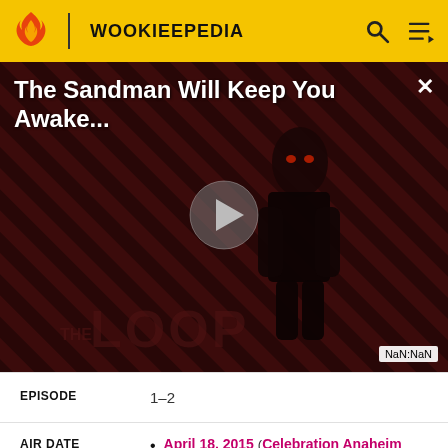WOOKIEEPEDIA
[Figure (screenshot): Video thumbnail for 'The Sandman Will Keep You Awake...' featuring a figure in black with diagonal stripes in red and black. The Loop logo visible. Play button in center. NaN:NaN timestamp shown.]
The Sandman Will Keep You Awake...
| Label | Value |
| --- | --- |
| EPISODE | 1-2 |
| AIR DATE | April 18, 2015 (Celebration Anaheim screening)[1] • June 20, 2015 (Disney XD)[2] |